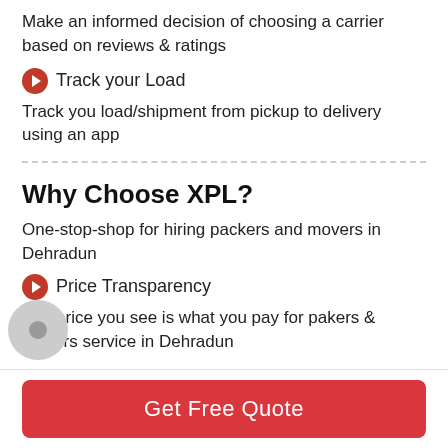Make an informed decision of choosing a carrier based on reviews & ratings
Track your Load
Track you load/shipment from pickup to delivery using an app
Why Choose XPL?
One-stop-shop for hiring packers and movers in Dehradun
Price Transparency
The price you see is what you pay for pakers & movers service in Dehradun
Get Free Quote